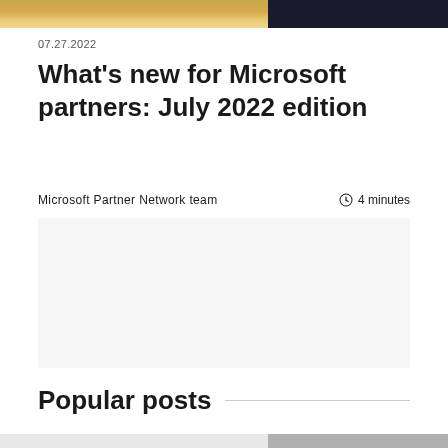[Figure (photo): Partial photo strip at top of page showing two images side by side]
07.27.2022
What's new for Microsoft partners: July 2022 edition
Microsoft Partner Network team
4 minutes
[Figure (other): Light gray rounded box with a dark circular plus button in the center, used to expand or load content]
Popular posts
[Figure (photo): Partial images at bottom of page, beginning of Popular posts section]